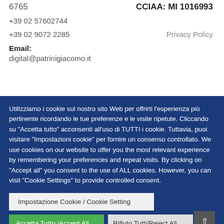6765
CCIAA: MI 1016993
+39 02 57602744
+39 02 9072 2285
Email:
Privacy Policy
digital@patrinigiacomo.it
Utilizziamo i cookie sul nostro sito Web per offrirti l'esperienza più pertinente ricordando le tue preferenze e le visite ripetute. Cliccando su "Accetta tutto" acconsenti all'uso di TUTTI i cookie. Tuttavia, puoi visitare "Impostazioni cookie" per fornire un consenso controllato. We use cookies on our website to offer you the most relevant experience by remembering your preferences and repeat visits. By clicking on "Accept all" you consent to the use of ALL cookies. However, you can visit "Cookie Settings" to provide controlled consent.
Impostazione Cookie / Cookie Setting
Accetta Tutto /Accept All
Rifiuto Tutti/Reject All